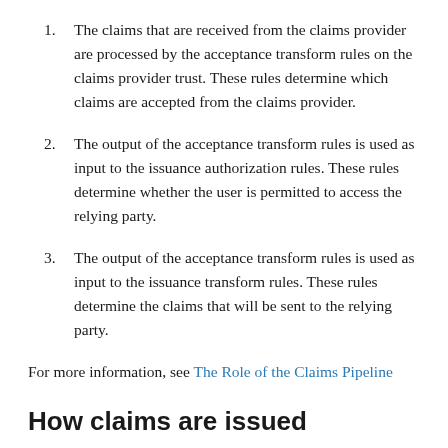1. The claims that are received from the claims provider are processed by the acceptance transform rules on the claims provider trust. These rules determine which claims are accepted from the claims provider.
2. The output of the acceptance transform rules is used as input to the issuance authorization rules. These rules determine whether the user is permitted to access the relying party.
3. The output of the acceptance transform rules is used as input to the issuance transform rules. These rules determine the claims that will be sent to the relying party.
For more information, see The Role of the Claims Pipeline
How claims are issued